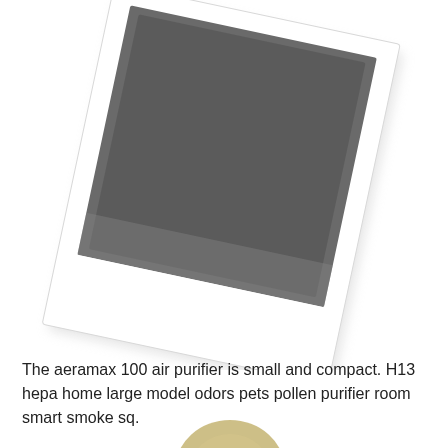[Figure (photo): A blurry polaroid-style photograph rotated slightly clockwise, showing a dark gray/black rectangular image area with a white border and white space at the bottom, resembling a polaroid photo frame. The image content is indistinct and blurred.]
The aeramax 100 air purifier is small and compact. H13 hepa home large model odors pets pollen purifier room smart smoke sq.
[Figure (photo): Partial view of a small round or oval shaped object in a yellowish-beige/tan color, only the top portion visible at the very bottom of the page, cropped off.]